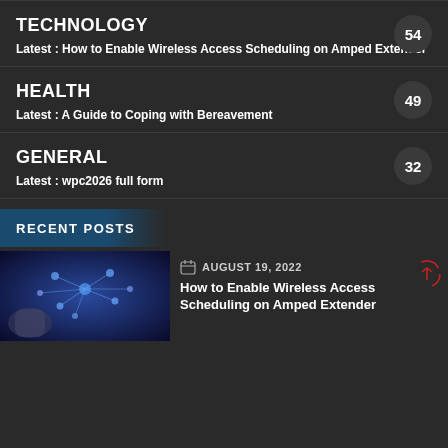TECHNOLOGY
Latest : How to Enable Wireless Access Scheduling on Amped Extender
HEALTH
Latest : A Guide to Coping with Bereavement
GENERAL
Latest : wpc2026 full form
RECENT POSTS
AUGUST 19, 2022
How to Enable Wireless Access Scheduling on Amped Extender
[Figure (photo): Wireless network technology illustration with connected nodes and hand]